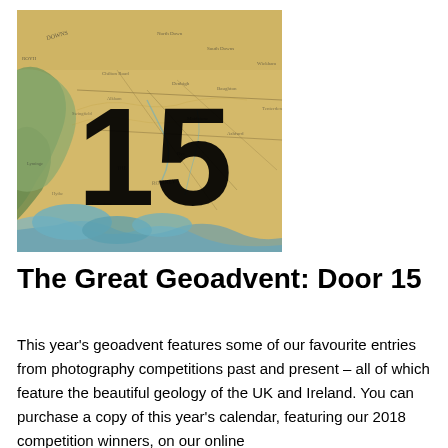[Figure (map): An antique-style geological/topographical map of a region in the UK, with yellowed parchment coloring, green areas on the left, blue water features at the bottom, road and place name annotations throughout. A large bold number '15' is overlaid on the upper-left portion of the map image.]
The Great Geoadvent: Door 15
This year's geoadvent features some of our favourite entries from photography competitions past and present – all of which feature the beautiful geology of the UK and Ireland. You can purchase a copy of this year's calendar, featuring our 2018 competition winners, on our online